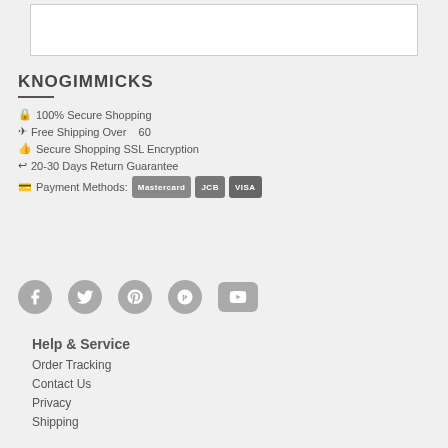[Figure (other): White content box at top of page]
KNOGIMMICKS
🔒 100% Secure Shopping
✈ Free Shipping Over 60
👍 Secure Shopping SSL Encryption
↩ 20-30 Days Return Guarantee
💳 Payment Methods: Mastercard JCB VISA
[Figure (other): Social media icons: Facebook, Twitter, Pinterest, Google+, YouTube]
Help & Service
Order Tracking
Contact Us
Privacy
Shipping